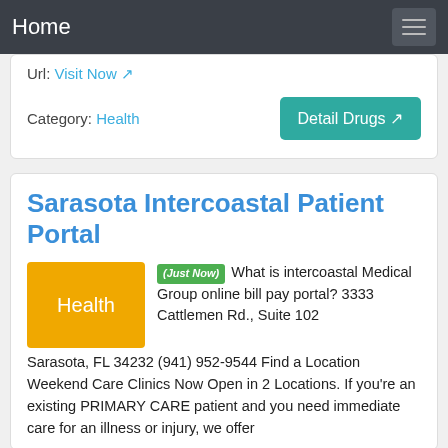Home
Url: Visit Now
Category: Health
Detail Drugs
Sarasota Intercoastal Patient Portal
(Just Now) What is intercoastal Medical Group online bill pay portal? 3333 Cattlemen Rd., Suite 102 Sarasota, FL 34232 (941) 952-9544 Find a Location Weekend Care Clinics Now Open in 2 Locations. If you're an existing PRIMARY CARE patient and you need immediate care for an illness or injury, we offer